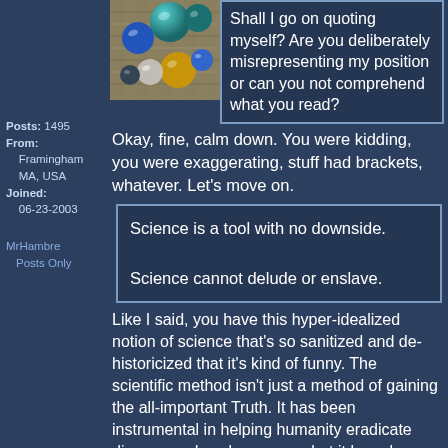[Figure (photo): Avatar image of colorful glass marbles]
Shall I go on quoting myself? Are you deliberately misrepresenting my position or can you not comprehend what you read?
Posts: 1495
From:
    Framingham
    MA, USA
Joined:
    06-23-2003
Okay, fine, calm down. You were kidding, you were exaggerating, stuff had brackets, whatever. Let's move on.
MrHambre
Posts Only
Science is a tool with no downside.

Science cannot delude or enslave.
Like I said, you have this hyper-idealized notion of science that's so sanitized and de-historicized that it's kind of funny. The scientific method isn't just a method of gaining the all-important Truth. It has been instrumental in helping humanity eradicate disease and explore space, but it has also represented a tool whereby humanity has made war more efficient and oppression more comprehensive. It's a tool that serves the powerful in helping perpetuate their power. It's a human endeavor that's just as